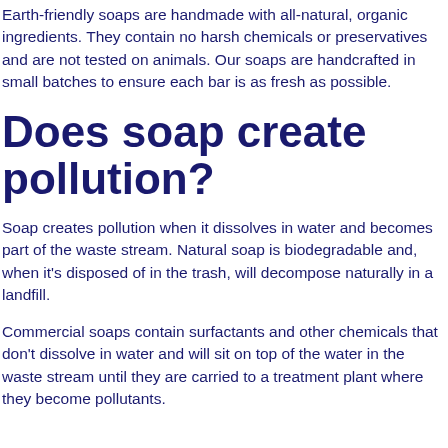Earth-friendly soaps are handmade with all-natural, organic ingredients. They contain no harsh chemicals or preservatives and are not tested on animals. Our soaps are handcrafted in small batches to ensure each bar is as fresh as possible.
Does soap create pollution?
Soap creates pollution when it dissolves in water and becomes part of the waste stream. Natural soap is biodegradable and, when it's disposed of in the trash, will decompose naturally in a landfill.
Commercial soaps contain surfactants and other chemicals that don't dissolve in water and will sit on top of the water in the waste stream until they are carried to a treatment plant where they become pollutants.